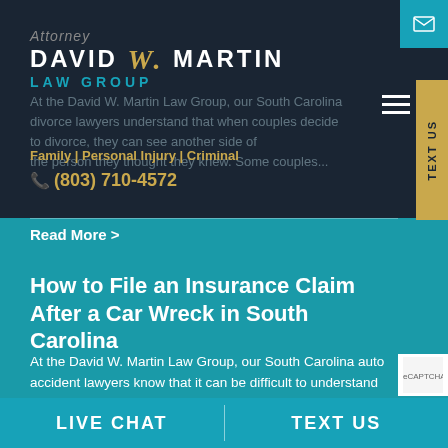Attorney David W. Martin Law Group | Family | Personal Injury | Criminal | (803) 710-4572
At the David W. Martin Law Group, our South Carolina divorce lawyers understand that when couples decide to divorce, they can see another side of the person they thought they knew. Some couples...
Read More >
How to File an Insurance Claim After a Car Wreck in South Carolina
At the David W. Martin Law Group, our South Carolina auto accident lawyers know that it can be difficult to understand what to do after a collision has occurred. Believe it or not, it is going to...
Read More >
LIVE CHAT | TEXT US